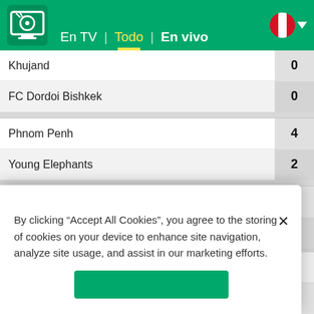En TV | Todo | En vivo
| Team | Score |
| --- | --- |
| Khujand | 0 |
| FC Dordoi Bishkek | 0 |
| Phnom Penh | 4 |
| Young Elephants | 2 |
| Cska Pamir | 0 |
| Neftchi Kochkor-Ata | 0 |
Uzbekistan Super League
| Team | Score |
| --- | --- |
| Metallurg Bekabad | 1 |
| Lokomotiv Tashkent | 1 |
By clicking “Accept All Cookies”, you agree to the storing of cookies on your device to enhance site navigation, analyze site usage, and assist in our marketing efforts.